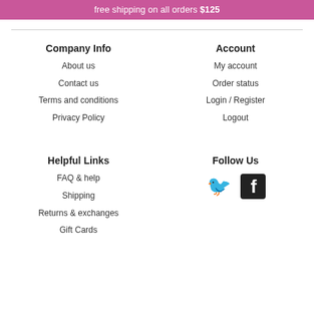free shipping on all orders $125
Company Info
About us
Contact us
Terms and conditions
Privacy Policy
Account
My account
Order status
Login / Register
Logout
Helpful Links
FAQ & help
Shipping
Returns & exchanges
Gift Cards
Follow Us
[Figure (illustration): Twitter and Facebook social media icons]